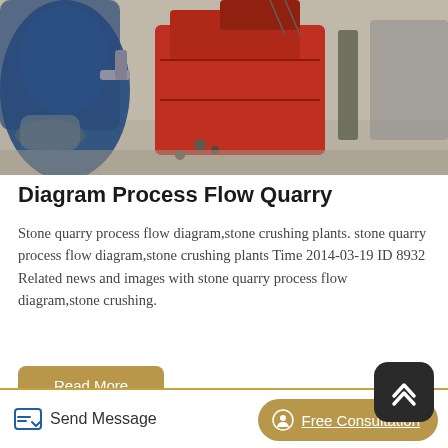[Figure (photo): Industrial stone crushing machinery — blue motor on left, red crusher in center, gray frame on right, workers in foreground on a concrete floor]
Diagram Process Flow Quarry
Stone quarry process flow diagram,stone crushing plants. stone quarry process flow diagram,stone crushing plants Time 2014-03-19 ID 8932 Related news and images with stone quarry process flow diagram,stone crushing.
[Figure (photo): Close-up of red and white industrial crusher/conveyor equipment]
Send Message   Free Consultation